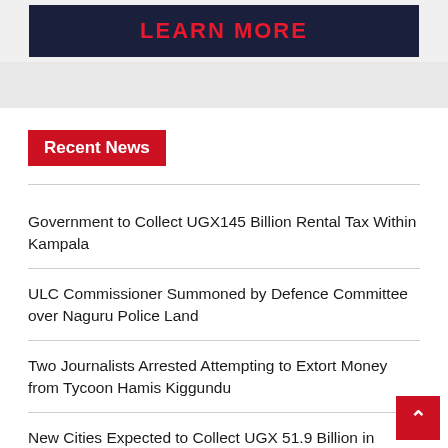[Figure (other): Dark navy blue banner with red bold text 'LEARN MORE' centered on it]
Recent News
Government to Collect UGX145 Billion Rental Tax Within Kampala
ULC Commissioner Summoned by Defence Committee over Naguru Police Land
Two Journalists Arrested Attempting to Extort Money from Tycoon Hamis Kiggundu
New Cities Expected to Collect UGX 51.9 Billion in Property Rates in FY2022/23